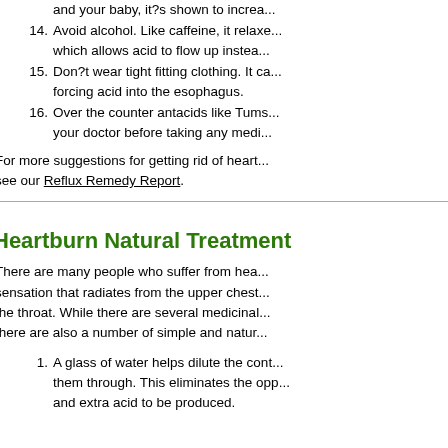and your baby, it?s shown to increa...
14. Avoid alcohol. Like caffeine, it relaxe... which allows acid to flow up instead...
15. Don?t wear tight fitting clothing. It ca... forcing acid into the esophagus.
16. Over the counter antacids like Tums... your doctor before taking any medi...
For more suggestions for getting rid of heart... see our Reflux Remedy Report.
Heartburn Natural Treatment
There are many people who suffer from hea... sensation that radiates from the upper chest the throat. While there are several medicina... there are also a number of simple and natur...
1. A glass of water helps dilute the cont... them through. This eliminates the opp... and extra acid to be produced.